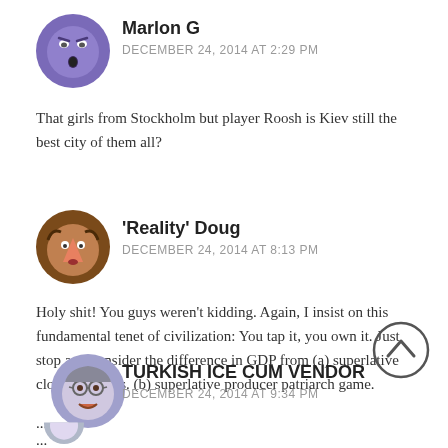[Figure (illustration): Purple angry cartoon avatar for Marlon G]
Marlon G
DECEMBER 24, 2014 AT 2:29 PM
That girls from Stockholm but player Roosh is Kiev still the best city of them all?
[Figure (illustration): Brown cartoon avatar for 'Reality' Doug]
'Reality' Doug
DECEMBER 24, 2014 AT 8:13 PM
Holy shit! You guys weren't kidding. Again, I insist on this fundamental tenet of civilization: You tap it, you own it. Just stop and consider the difference in GDP from (a) superlative clown game vs. (b) superlative producer patriarch game.
[Figure (illustration): Light purple cartoon avatar for TURKISH ICE CUM VENDOR]
TURKISH ICE CUM VENDOR
DECEMBER 24, 2014 AT 9:34 PM
OOOPPAHH!!!!!
[Figure (illustration): Scroll to top chevron circle button]
[Figure (illustration): Partial avatar at bottom for next commenter vagabond]